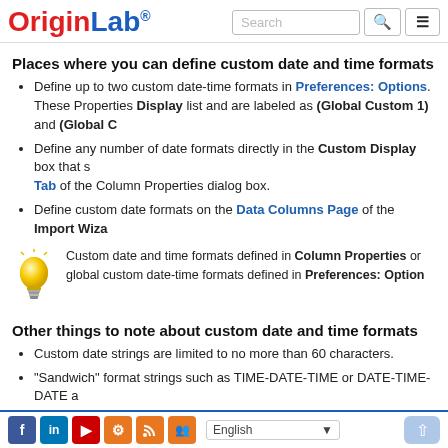OriginLab [logo] Search [search button] [menu button]
Places where you can define custom date and time formats
Define up to two custom date-time formats in Preferences: Options. These Properties Display list and are labeled as (Global Custom 1) and (Global C
Define any number of date formats directly in the Custom Display box that s Tab of the Column Properties dialog box.
Define custom date formats on the Data Columns Page of the Import Wiza
[Figure (illustration): Yellow lightbulb tip icon]
Custom date and time formats defined in Column Properties or global custom date-time formats defined in Preferences: Option
Other things to note about custom date and time formats
Custom date strings are limited to no more than 60 characters.
"Sandwich" format strings such as TIME-DATE-TIME or DATE-TIME-DATE a
Only the standard, regionally-defined '.' and ',' are supported as decimal poin
When you define a custom date format, it will list at the top of the Custom D project file. To share the format with other users without sharing your project Folder) and look for the Origin.ini. Open the file in a text editor and find the C
Facebook LinkedIn YouTube Settings RSS Group | English | Up arrow